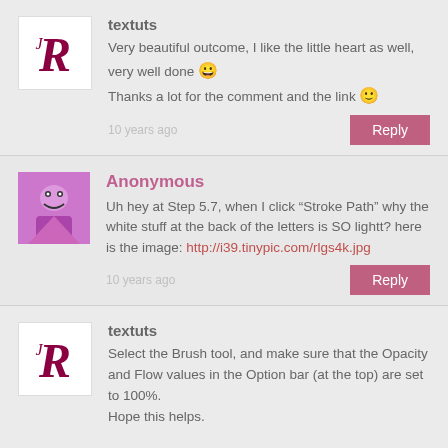textuts
Very beautiful outcome, I like the little heart as well, very well done 😀
Thanks a lot for the comment and the link 🙂
10 years ago
Reply
Anonymous
Uh hey at Step 5.7, when I click "Stroke Path" why the white stuff at the back of the letters is SO lightt? here is the image: http://i39.tinypic.com/rlgs4k.jpg
10 years ago
Reply
textuts
Select the Brush tool, and make sure that the Opacity and Flow values in the Option bar (at the top) are set to 100%.
Hope this helps.